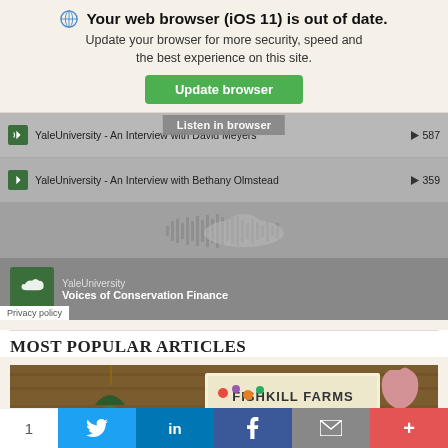Your web browser (iOS 11) is out of date. Update your browser for more security, speed and the best experience on this site.
Update browser
[Figure (screenshot): SoundCloud widget showing Yale University podcast episodes: 'An Interview with David Meyers' (587 plays) and 'An Interview with Bethany Olmstead' (359 plays), with SoundCloud waveform and Voices of Conservation Finance playlist by YaleUniversity. A 'Listen in browser' overlay button is visible.]
MOST POPULAR ARTICLES
[Figure (photo): Fishkill Farms sign with colorful fruit and vegetable illustrations on a wooden background, with hanging plants visible on the left and a pink decorative item on the right.]
1  Twitter  in  f  mail  +